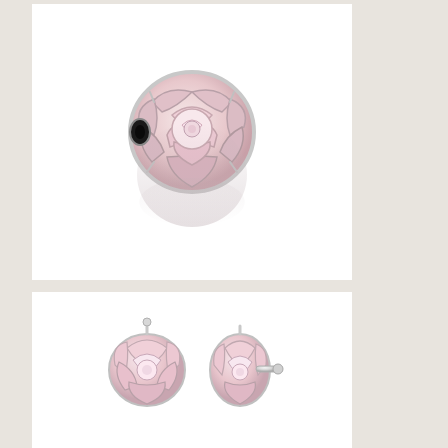[Figure (photo): Silver and pink enamel rose-shaped clip charm bead, shown with reflection below on white background]
[Figure (photo): Two silver and pink enamel rose stud earrings on white background, one showing front face and one showing side/back]